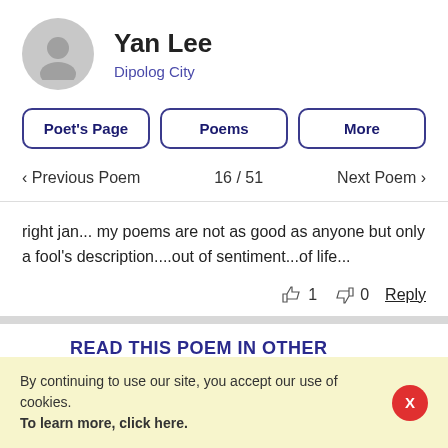Yan Lee
Dipolog City
Poet's Page
Poems
More
< Previous Poem   16 / 51   Next Poem >
right jan... my poems are not as good as anyone but only a fool's description....out of sentiment...of life...
1   0   Reply
READ THIS POEM IN OTHER LANGUAGES
By continuing to use our site, you accept our use of cookies. To learn more, click here.